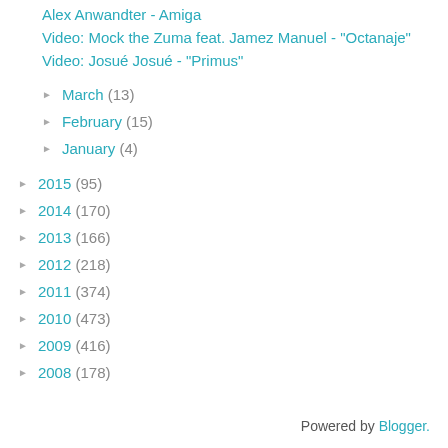Alex Anwandter - Amiga
Video: Mock the Zuma feat. Jamez Manuel - "Octanaje"
Video: Josué Josué - "Primus"
► March (13)
► February (15)
► January (4)
► 2015 (95)
► 2014 (170)
► 2013 (166)
► 2012 (218)
► 2011 (374)
► 2010 (473)
► 2009 (416)
► 2008 (178)
Powered by Blogger.